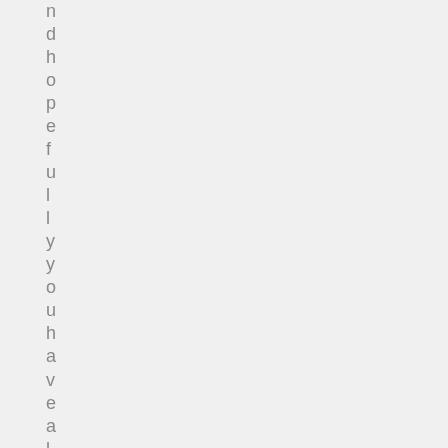n d h o p e f u l l y y o u h a v e a l r e a